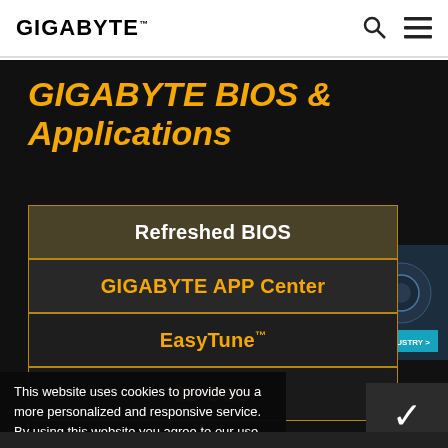GIGABYTE
GIGABYTE BIOS & Applications
Refreshed BIOS
GIGABYTE APP Center
EasyTune™
3D OSD
[Figure (screenshot): 3D INDUSTRY promotional panel with industrial facility image and '3D INDUSTRY >' button]
This website uses cookies to provide you a more personalized and responsive service. By using this website you agree to our use of cookies. If you require more information or prefer not to accept cookies please visit our Privacy Policy